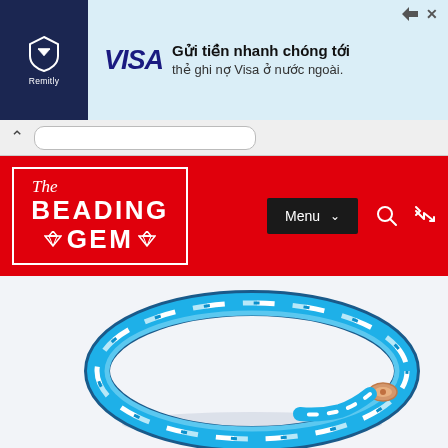[Figure (screenshot): Advertisement banner for Remitly and Visa: dark blue Remitly logo on left, Visa text, Vietnamese text 'Gửi tiền nhanh chóng tới thẻ ghi nợ Visa ở nước ngoài.']
[Figure (screenshot): Browser navigation bar with back caret and URL input field]
[Figure (logo): The Beading Gem website logo on red header bar with Menu dropdown and search/shuffle icons]
[Figure (photo): Blue and white braided cord bracelet with rose gold clasp on white background]